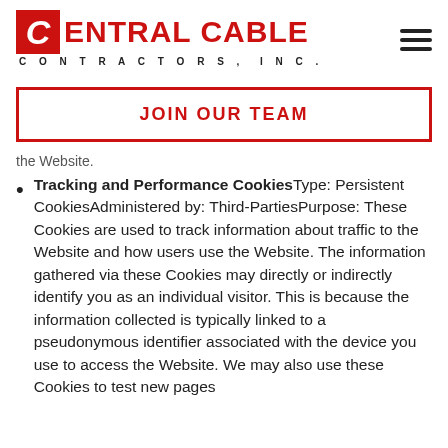Central Cable Contractors, Inc.
JOIN OUR TEAM
the Website.
Tracking and Performance Cookies Type: Persistent CookiesAdministered by: Third-PartiesPurpose: These Cookies are used to track information about traffic to the Website and how users use the Website. The information gathered via these Cookies may directly or indirectly identify you as an individual visitor. This is because the information collected is typically linked to a pseudonymous identifier associated with the device you use to access the Website. We may also use these Cookies to test new pages